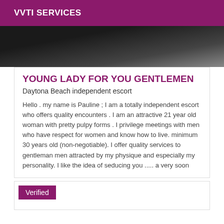VVTI SERVICES
[Figure (photo): Dark photo, partially visible, dark background with indistinct shapes]
YOUNG LADY FOR YOU GENTLEMEN
Daytona Beach independent escort
Hello . my name is Pauline ; I am a totally independent escort who offers quality encounters . I am an attractive 21 year old woman with pretty pulpy forms . I privilege meetings with men who have respect for women and know how to live. minimum 30 years old (non-negotiable). I offer quality services to gentleman men attracted by my physique and especially my personality. I like the idea of seducing you ..... a very soon
Verified